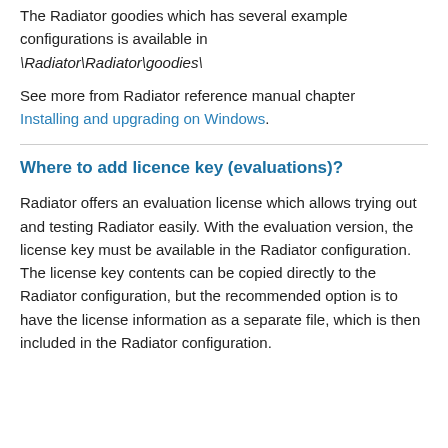The Radiator goodies which has several example configurations is available in \Radiator\Radiator\goodies\
See more from Radiator reference manual chapter Installing and upgrading on Windows.
Where to add licence key (evaluations)?
Radiator offers an evaluation license which allows trying out and testing Radiator easily. With the evaluation version, the license key must be available in the Radiator configuration. The license key contents can be copied directly to the Radiator configuration, but the recommended option is to have the license information as a separate file, which is then included in the Radiator configuration.